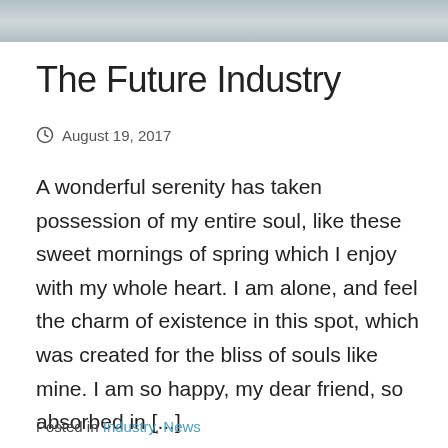[Figure (photo): Partial photo strip at top of page showing a beach/coastal scene]
The Future Industry
August 19, 2017
A wonderful serenity has taken possession of my entire soul, like these sweet mornings of spring which I enjoy with my whole heart. I am alone, and feel the charm of existence in this spot, which was created for the bliss of souls like mine. I am so happy, my dear friend, so absorbed in [...]
READ MORE
Posted in Industry, News